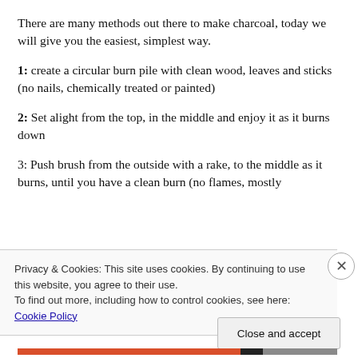There are many methods out there to make charcoal, today we will give you the easiest, simplest way.
1: create a circular burn pile with clean wood, leaves and sticks (no nails, chemically treated or painted)
2: Set alight from the top, in the middle and enjoy it as it burns down
3: Push brush from the outside with a rake, to the middle as it burns, until you have a clean burn (no flames, mostly…
Privacy & Cookies: This site uses cookies. By continuing to use this website, you agree to their use. To find out more, including how to control cookies, see here: Cookie Policy
Close and accept